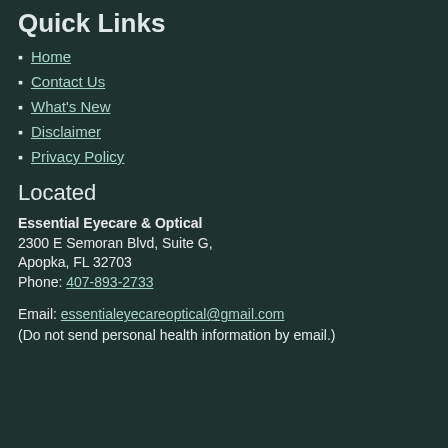Quick Links
Home
Contact Us
What's New
Disclaimer
Privacy Policy
Located
Essential Eyecare & Optical
2300 E Semoran Blvd, Suite G,
Apopka, FL 32703
Phone: 407-893-2733
Email: essentialeyecareoptical@gmail.com
(Do not send personal health information by email.)